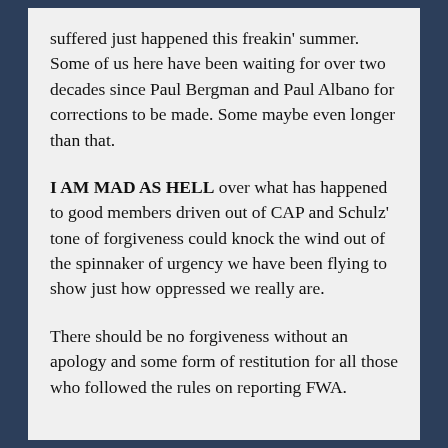suffered just happened this freakin' summer. Some of us here have been waiting for over two decades since Paul Bergman and Paul Albano for corrections to be made. Some maybe even longer than that.
I AM MAD AS HELL over what has happened to good members driven out of CAP and Schulz' tone of forgiveness could knock the wind out of the spinnaker of urgency we have been flying to show just how oppressed we really are.
There should be no forgiveness without an apology and some form of restitution for all those who followed the rules on reporting FWA.